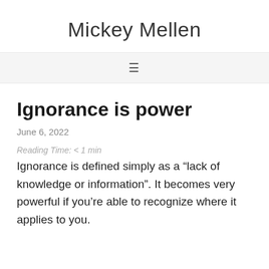Mickey Mellen
Ignorance is power
June 6, 2022
Reading Time: < 1 min
Ignorance is defined simply as a “lack of knowledge or information”. It becomes very powerful if you’re able to recognize where it applies to you.